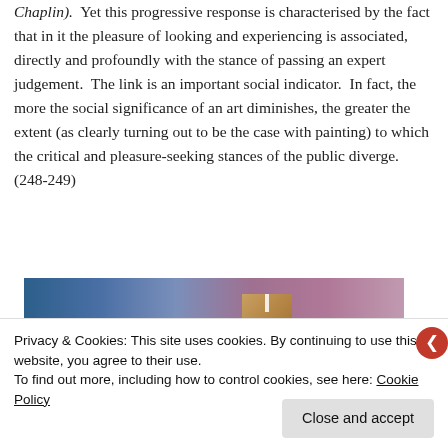Chaplin). Yet this progressive response is characterised by the fact that in it the pleasure of looking and experiencing is associated, directly and profoundly with the stance of passing an expert judgement. The link is an important social indicator. In fact, the more the social significance of an art diminishes, the greater the extent (as clearly turning out to be the case with painting) to which the critical and pleasure-seeking stances of the public diverge. (248-249)
[Figure (photo): A horizontal gradient image transitioning from dark blue on the left through purple to pinkish tones on the right, with a brownish rectangular box object positioned in the upper-center-right area of the image.]
Privacy & Cookies: This site uses cookies. By continuing to use this website, you agree to their use.
To find out more, including how to control cookies, see here: Cookie Policy
Close and accept